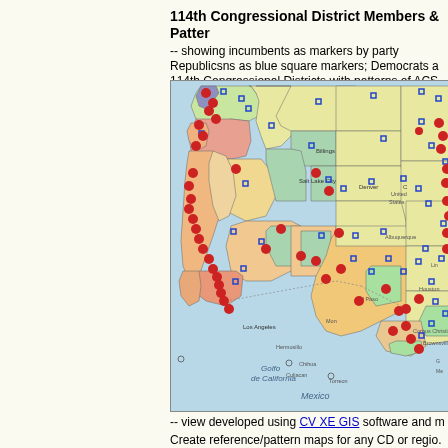114th Congressional District Members & Patterns
-- showing incumbents as markers by party Republicsns as blue square markers; Democrats as 114th Congressional Districts with patterns of ACS
[Figure (map): Map of the western United States showing 114th Congressional Districts colored by ACS patterns, with blue square markers for Republican incumbents and red circle markers for Democrat incumbents. Districts shown in various colors (green, yellow, orange, salmon, blue). Map extends from Pacific coast to eastern US states, including northern Mexico.]
-- view developed using CV XE GIS software and m
Create reference/pattern maps for any CD or region. GIS software and related GIS project.